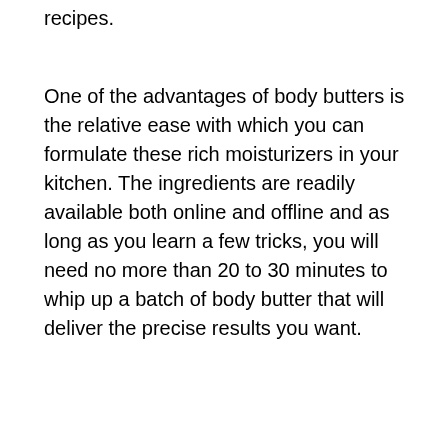recipes.
One of the advantages of body butters is the relative ease with which you can formulate these rich moisturizers in your kitchen. The ingredients are readily available both online and offline and as long as you learn a few tricks, you will need no more than 20 to 30 minutes to whip up a batch of body butter that will deliver the precise results you want.